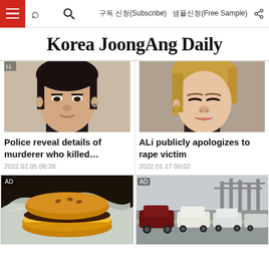Korea JoongAng Daily — navigation bar with hamburger menu, search icon, 구독 신청(Subscribe), 샘플신청(Free Sample), share icon
Korea JoongAng Daily
[Figure (photo): Close-up photo of a young Asian man's face looking forward]
Police reveal details of murderer who killed…
2022.02.05 06:28
[Figure (photo): Close-up photo of a woman with blonde streaks and eyes closed]
ALi publicly apologizes to rape victim
2022.01.17 00:02
[Figure (photo): AD — Photo of a burger/cheeseburger wrapped in foil]
[Figure (photo): AD — Photo of a parking lot full of SUVs and trucks near a port/harbor]